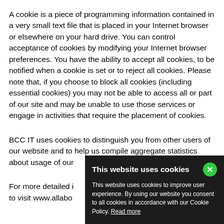A cookie is a piece of programming information contained in a very small text file that is placed in your Internet browser or elsewhere on your hard drive. You can control acceptance of cookies by modifying your Internet browser preferences. You have the ability to accept all cookies, to be notified when a cookie is set or to reject all cookies. Please note that, if you choose to block all cookies (including essential cookies) you may not be able to access all or part of our site and may be unable to use those services or engage in activities that require the placement of cookies.
BCC IT uses cookies to distinguish you from other users of our website and to help us compile aggregate statistics about usage of our website.
For more detailed information about cookies, we invite you to visit www.allaboutcookies.org
[Figure (other): Cookie consent banner overlay with dark background. Title: 'This website uses cookies' with a green X close button. Body text: 'This website uses cookies to improve user experience. By using our website you consent to all cookies in accordance with our Cookie Policy. Read more']